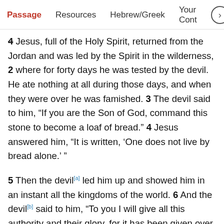Passage  Resources  Hebrew/Greek  Your Cont >
4 Jesus, full of the Holy Spirit, returned from the Jordan and was led by the Spirit in the wilderness, 2 where for forty days he was tested by the devil. He ate nothing at all during those days, and when they were over he was famished. 3 The devil said to him, “If you are the Son of God, command this stone to become a loaf of bread.” 4 Jesus answered him, “It is written, ‘One does not live by bread alone.’ ”
5 Then the devil[a] led him up and showed him in an instant all the kingdoms of the world. 6 And the devil[b] said to him, “To you I will give all this authority and their glory, for it has been given over to me, and I give it to anyone I please. 7 If you, then, will worship me, it will all be yours.” 8 Jesus answered him, “It is written,